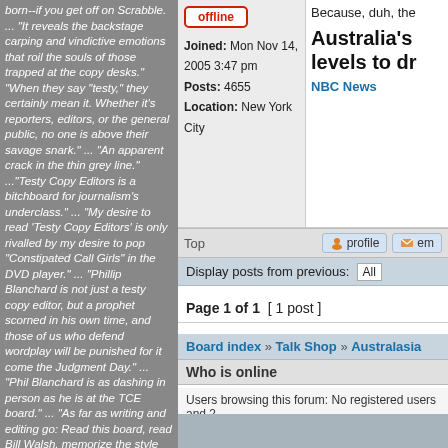born--if you get off on Scrabble. ... "It reveals the backstage carping and vindictive emotions that roil the souls of those trapped at the copy desks." "When they say "testy," they certainly mean it. Whether it's reporters, editors, or the general public, no one is above their savage snark." ... "An apparent crack in the thin grey line." ..."Testy Copy Editors is a bitchboard for journalism's underclass." ... "My desire to read 'Testy Copy Editors' is only rivalled by my desire to pop "Constipated Call Girls" in the DVD player." ... "Phillip Blanchard is not just a testy copy editor, but a prophet scorned in his own time, and those of us who defend wordplay will be punished for it come the Judgment Day." ... "Phil Blanchard is as dashing in person as he is at the TCE board." ... "As far as writing and editing go: Read this board, read Bill Walsh, memorize the style book, read William Zinsser, and read the New York Times. That's a good start." ... "You should let go of your bitterness. You were not the oppressed talent you thought yourself to be. You were a miserable, brooding, silent, joyless grind, lucky to have a job at the Sun-Times, and we're
offline
Joined: Mon Nov 14, 2005 3:47 pm
Posts: 4655
Location: New York City
Because, duh, the
Australia's levels to dr
NBC News
Top
profile   em
Display posts from previous: All
Page 1 of 1  [ 1 post ]
Board index » Talk Shop » Australasia
Who is online
Users browsing this forum: No registered users and 2